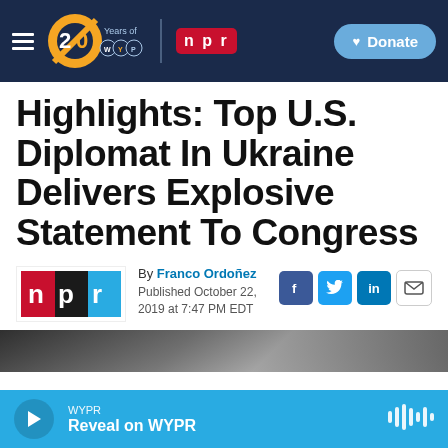WYPR 20 Years of WYPR | NPR | Donate
Highlights: Top U.S. Diplomat In Ukraine Delivers Explosive Statement To Congress
By Franco Ordoñez
Published October 22, 2019 at 7:47 PM EDT
[Figure (photo): Partial photo of a person, partially visible at bottom of article]
WYPR
Reveal on WYPR